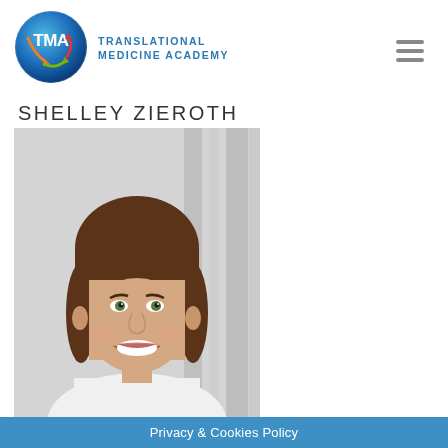[Figure (logo): TMA (Translational Medicine Academy) circular logo with blue globe and colored arrows, followed by text 'TRANSLATIONAL MEDICINE ACADEMY']
SHELLEY ZIEROTH
[Figure (photo): Professional headshot of a woman with brown hair and bangs, smiling, wearing a white coat, against a blurred background]
Privacy & Cookies Policy